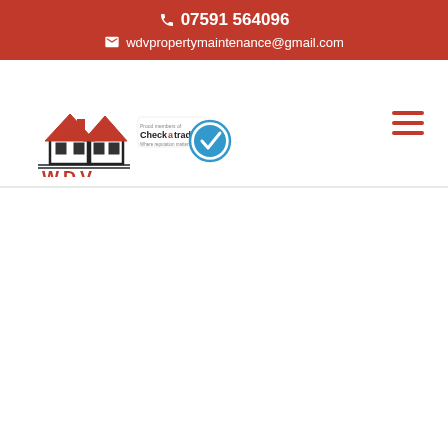07591 564096 | wdvpropertymaintenance@gmail.com
[Figure (logo): WDV Roofing & Property Maintenance logo with Checkatrade.com badge]